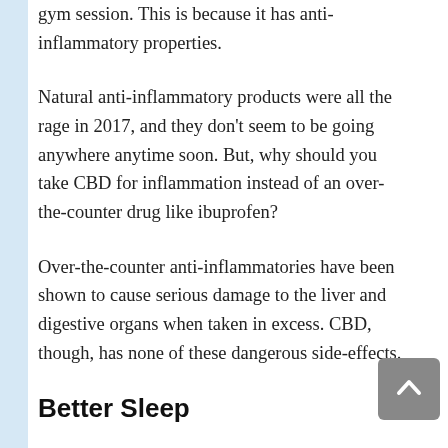gym session. This is because it has anti-inflammatory properties.
Natural anti-inflammatory products were all the rage in 2017, and they don't seem to be going anywhere anytime soon. But, why should you take CBD for inflammation instead of an over-the-counter drug like ibuprofen?
Over-the-counter anti-inflammatories have been shown to cause serious damage to the liver and digestive organs when taken in excess. CBD, though, has none of these dangerous side-effects.
Better Sleep
Sleep is essential for everyone, but especially active individuals. In fact, it's when we're sleeping that our bodies do most of their recovering.